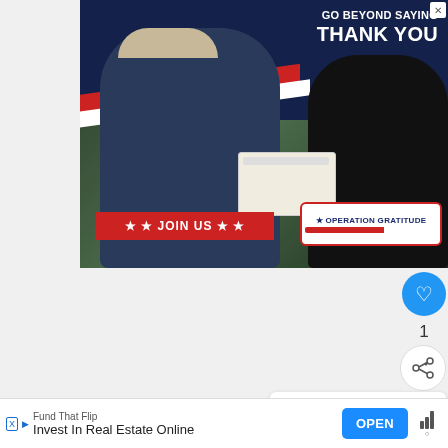[Figure (photo): Operation Gratitude advertisement showing a military service member in uniform being handed a care package box by a civilian woman. Text reads 'GO BEYOND SAYING THANK YOU' with a red 'JOIN US' button and the Operation Gratitude logo.]
1
WHAT'S NEXT → Building a Container...
Building shipping container tiny homes can be in...
Fund That Flip
Invest In Real Estate Online
OPEN